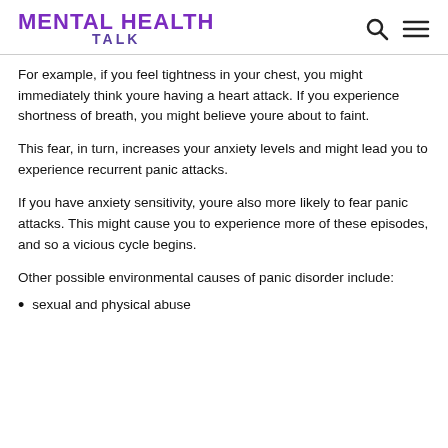MENTAL HEALTH TALK
For example, if you feel tightness in your chest, you might immediately think youre having a heart attack. If you experience shortness of breath, you might believe youre about to faint.
This fear, in turn, increases your anxiety levels and might lead you to experience recurrent panic attacks.
If you have anxiety sensitivity, youre also more likely to fear panic attacks. This might cause you to experience more of these episodes, and so a vicious cycle begins.
Other possible environmental causes of panic disorder include:
sexual and physical abuse